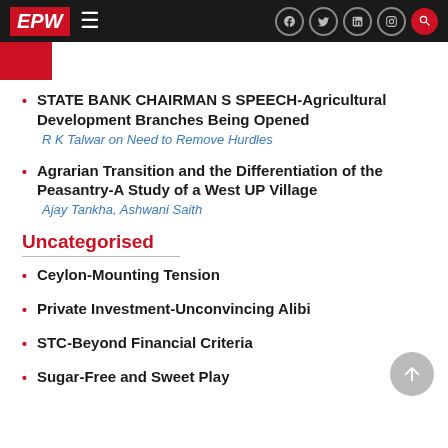EPW
STATE BANK CHAIRMAN S SPEECH-Agricultural Development Branches Being Opened
Agrarian Transition and the Differentiation of the Peasantry-A Study of a West UP Village
Uncategorised
Ceylon-Mounting Tension
Private Investment-Unconvincing Alibi
STC-Beyond Financial Criteria
Sugar-Free and Sweet Play